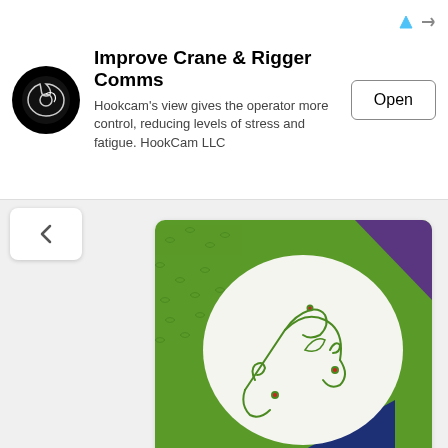[Figure (screenshot): Advertisement banner for HookCam LLC - Improve Crane & Rigger Comms with logo, description text, and Open button]
[Figure (photo): Quilt block showing green embroidered vine and leaf design on white fabric with colorful patterned borders in green, navy, and red]
149. By Penny B
[Figure (photo): Quilt block showing green embroidered flower and vine design with number 7, on white octagonal fabric with floral and blue/red patterned borders]